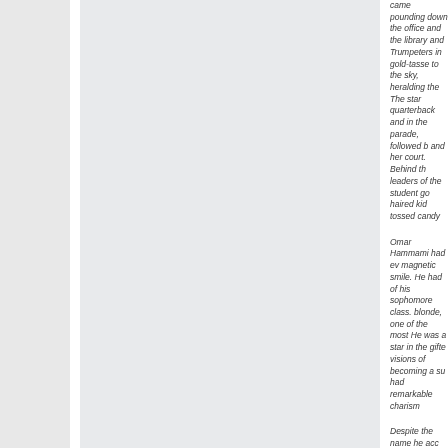[Figure (photo): Large image area occupying the left-center portion of the page, light gray/blue-gray background placeholder for a photograph.]
came pounding down the office and the library and Trumpeters in gold-tasse to the sky, heralding the The star quarterback an in the parade, followed b and her court. Behind th leaders of the student go haired kid tossed candy

Omar Hammami had ev magnetic smile. He had of his sophomore class. blonde, one of the most He was a star in the gifte visions of becoming a su had remarkable charism

Despite the name he acc immigrant from Syria, Ha Alabaman as his mother woman who sprinkles he blandishments like "suga Southern Baptist, Omar and sang "Away in a Ma a teenager, his passions Shakespeare and Kurt C In the thick of his adoles raucously funny, rebellio just to be with him," his b Gunter, said recently. "Y